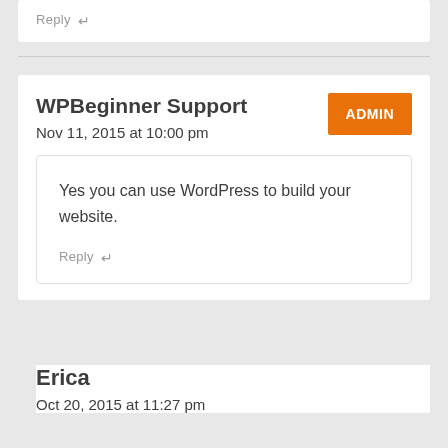Reply ↵
WPBeginner Support
Nov 11, 2015 at 10:00 pm
ADMIN
Yes you can use WordPress to build your website.
Reply ↵
Erica
Oct 20, 2015 at 11:27 pm